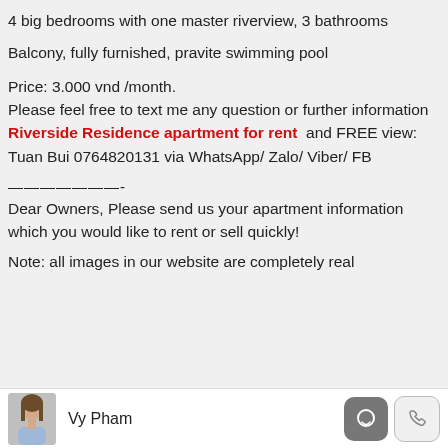4 big bedrooms with one master riverview, 3 bathrooms
Balcony, fully furnished, pravite swimming pool
Price: 3.000 vnd /month.
Please feel free to text me any question or further information Riverside Residence apartment for rent and FREE view: Tuan Bui 0764820131 via WhatsApp/ Zalo/ Viber/ FB
———————-
Dear Owners, Please send us your apartment information which you would like to rent or sell quickly!
Note: all images in our website are completely real
Vy Pham